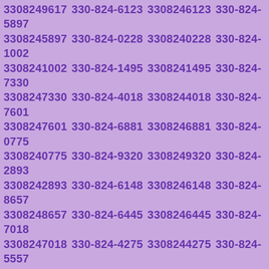3308249617 330-824-6123 3308246123 330-824-5897 3308245897 330-824-0228 3308240228 330-824-1002 3308241002 330-824-1495 3308241495 330-824-7330 3308247330 330-824-4018 3308244018 330-824-7601 3308247601 330-824-6881 3308246881 330-824-0775 3308240775 330-824-9320 3308249320 330-824-2893 3308242893 330-824-6148 3308246148 330-824-8657 3308248657 330-824-6445 3308246445 330-824-7018 3308247018 330-824-4275 3308244275 330-824-5557 3308245557 330-824-4080 3308244080 330-824-9770 3308249770 330-824-1186 3308241186 330-824-1670 3308241670 330-824-4094 3308244094 330-824-8738 3308248738 330-824-2249 3308242249 330-824-8841 3308248841 330-824-8756 3308248756 330-824-3597 3308243597 330-824-8273 3308248273 330-824-5937 3308245937 330-824-2806 3308242806 330-824-6067 3308246067 330-824-7743 3308247743 330-824-8278 3308248278 330-824-4119 3308244119 330-824-0975 3308240975 330-824-2464 3308242464 330-824-4394 3308244394 330-824-8440 3308248440 330-824-1792 3308241792 330-824-1584 3308241584 330-824-0108